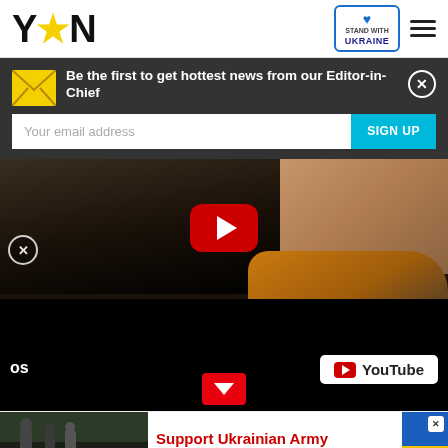[Figure (logo): YEN logo with star replacing second letter, black bold text with yellow star]
[Figure (logo): Stand With Ukraine badge with blue/yellow heart icon, blue border]
Be the first to get hottest news from our Editor-in-Chief
Your email address
SIGN UP
[Figure (photo): Video thumbnail showing person in dark jacket in car interior with tan leather seat, orange bag with logo visible, YouTube play button overlay]
YouTube
[Figure (infographic): Support Ukrainian Army banner ad with soldiers image on left, red headline text, Ukrainian flag on right with close button]
Support Ukrainian Army
Donate to defend Ukraine and democracy